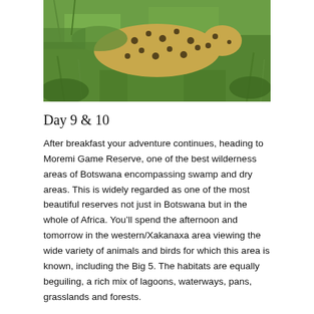[Figure (photo): A cheetah resting in green grass, viewed from above. The spotted coat is visible against lush green vegetation.]
Day 9 & 10
After breakfast your adventure continues, heading to Moremi Game Reserve, one of the best wilderness areas of Botswana encompassing swamp and dry areas. This is widely regarded as one of the most beautiful reserves not just in Botswana but in the whole of Africa. You’ll spend the afternoon and tomorrow in the western/Xakanaxa area viewing the wide variety of animals and birds for which this area is known, including the Big 5. The habitats are equally beguiling, a rich mix of lagoons, waterways, pans, grasslands and forests.
(Full board).